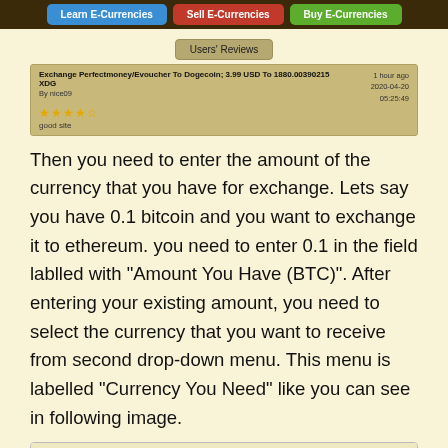[Figure (screenshot): Navigation bar with three buttons: Learn E-Currencies (blue), Sell E-Currencies (red), Buy E-Currencies (green)]
[Figure (screenshot): Users' Reviews section with one review card: Exchange Perfectmoney/Evoucher To Dogecoin; 3.99 USD To 1880.00390215 XDG, By nice09, 1 hour ago, 2020-04-20 05:25:49, 4 stars, good site]
Then you need to enter the amount of the currency that you have for exchange. Lets say you have 0.1 bitcoin and you want to exchange it to ethereum. you need to enter 0.1 in the field lablled with "Amount You Have (BTC)". After entering your existing amount, you need to select the currency that you want to receive from second drop-down menu. This menu is labelled "Currency You Need" like you can see in following image.
[Figure (screenshot): Bottom of a cryptocurrency exchange website showing a row of cryptocurrency icons and a dark bar with 'Exchange E-Currencies' purple button and an English language selector]